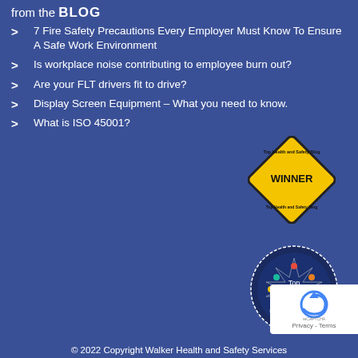from the BLOG
7 Fire Safety Precautions Every Employer Must Know To Ensure A Safe Work Environment
Is workplace noise contributing to employee burn out?
Are your FLT drivers fit to drive?
Display Screen Equipment – What you need to know.
What is ISO 45001?
[Figure (illustration): Yellow diamond road sign shape with black border saying WINNER, with small text around the top and bottom edges reading Top Health and Safety Blog]
[Figure (illustration): Circular dark blue badge with dashed border, coloured cross/star icon, reading Top 40 Health and Safety Blog with small heart at bottom]
[Figure (logo): reCAPTCHA logo with blue arrow/refresh symbol, white background box, text Privacy - Terms]
© 2022 Copyright Walker Health and Safety Services